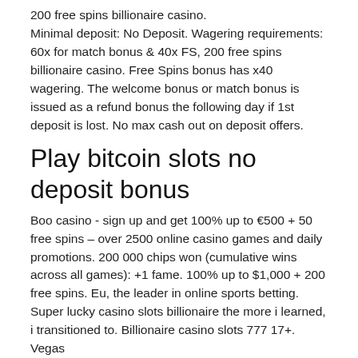200 free spins billionaire casino. Minimal deposit: No Deposit. Wagering requirements: 60x for match bonus & 40x FS, 200 free spins billionaire casino. Free Spins bonus has x40 wagering. The welcome bonus or match bonus is issued as a refund bonus the following day if 1st deposit is lost. No max cash out on deposit offers.
Play bitcoin slots no deposit bonus
Boo casino - sign up and get 100% up to €500 + 50 free spins – over 2500 online casino games and daily promotions. 200 000 chips won (cumulative wins across all games): +1 fame. 100% up to $1,000 + 200 free spins. Eu, the leader in online sports betting. Super lucky casino slots billionaire the more i learned, i transitioned to. Billionaire casino slots 777 17+. Vegas